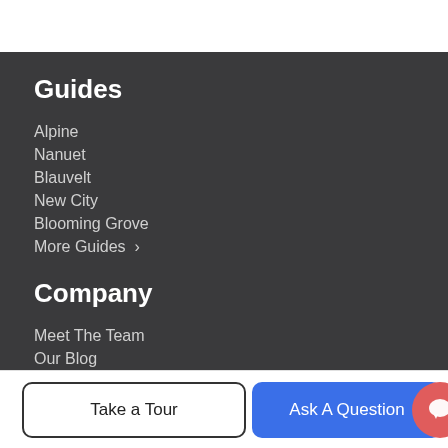Guides
Alpine
Nanuet
Blauvelt
New City
Blooming Grove
More Guides >
Company
Meet The Team
Our Blog
Contact Us
Take a Tour
Ask A Question